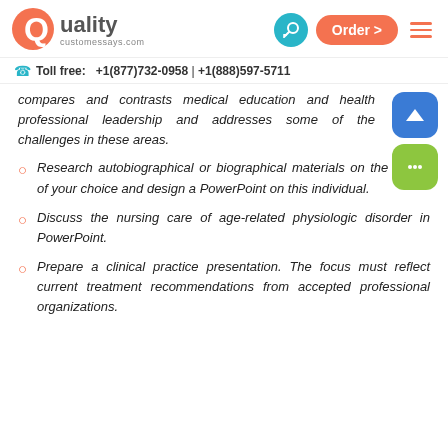Quality customessays.com — Order > — [key icon] — [menu icon]
Toll free: +1(877)732-0958 | +1(888)597-5711
compares and contrasts medical education and health professional leadership and addresses some of the challenges in these areas.
Research autobiographical or biographical materials on the leader of your choice and design a PowerPoint on this individual.
Discuss the nursing care of age-related physiologic disorder in PowerPoint.
Prepare a clinical practice presentation. The focus must reflect current treatment recommendations from accepted professional organizations.